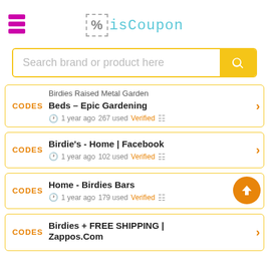isCoupon
Search brand or product here
Birdies Raised Metal Garden Beds – Epic Gardening | 1 year ago 267 used Verified
Birdie's - Home | Facebook | 1 year ago 102 used Verified
Home - Birdies Bars | 1 year ago 179 used Verified
Birdies + FREE SHIPPING | Zappos.Com